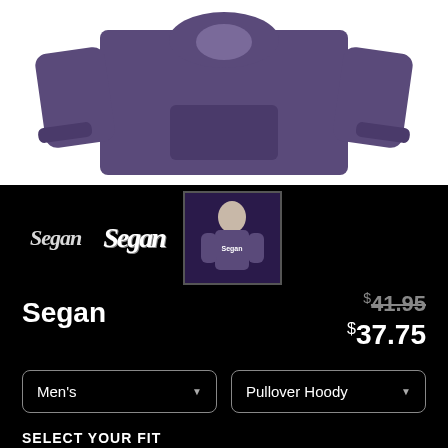[Figure (photo): Purple pullover hoodie product photo showing front and back views on white background]
[Figure (photo): Brand logo text in gothic/old english style reading 'Segan' and a small thumbnail of purple hoodie worn by a figure]
Segan
$41.95 (strikethrough original price) $37.75 (sale price)
Men's (dropdown) Pullover Hoody (dropdown)
SELECT YOUR FIT